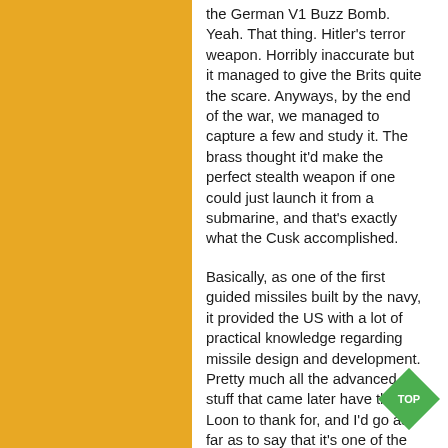the German V1 Buzz Bomb. Yeah. That thing. Hitler's terror weapon. Horribly inaccurate but it managed to give the Brits quite the scare. Anyways, by the end of the war, we managed to capture a few and study it. The brass thought it'd make the perfect stealth weapon if one could just launch it from a submarine, and that's exactly what the Cusk accomplished.
Basically, as one of the first guided missiles built by the navy, it provided the US with a lot of practical knowledge regarding missile design and development. Pretty much all the advanced stuff that came later have the Loon to thank for, and I'd go as far as to say that it's one of the top three weapons of war that permanently changed the fate of the world. The ability for a submarine to carry ballistic missiles anywhere around the globe and launch them at a moment's